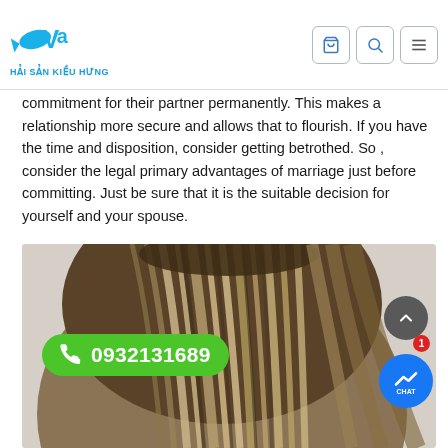HẢI SẢN KIỀU HƯNG
commitment for their partner permanently. This makes a relationship more secure and allows that to flourish. If you have the time and disposition, consider getting betrothed. So , consider the legal primary advantages of marriage just before committing. Just be sure that it is the suitable decision for yourself and your spouse.
[Figure (photo): Close-up back view of a person with straight highlighted hair in blonde/brown balayage style]
0932131689